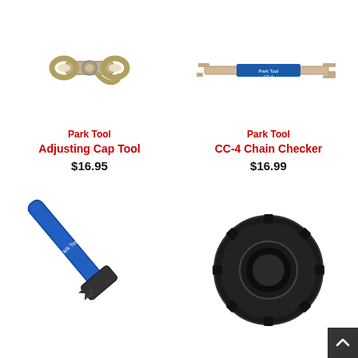[Figure (photo): Park Tool Adjusting Cap Tool - a small silver/chrome bicycle chain link connector tool]
[Figure (photo): Park Tool CC-4 Chain Checker - a flat metal chain wear indicator tool with blue label]
Park Tool
Adjusting Cap Tool
$16.95
Park Tool
CC-4 Chain Checker
$16.99
[Figure (photo): Park Tool blue cone wrench with open end, angled handle]
[Figure (photo): Black bicycle bottom bracket tool / lockring socket seen from above]